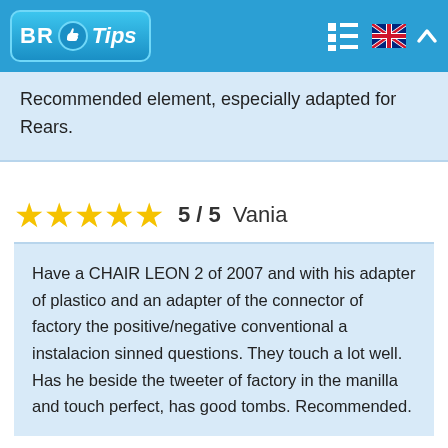BR Tips
Recommended element, especially adapted for Rears.
5 / 5   Vania
Have a CHAIR LEON 2 of 2007 and with his adapter of plastico and an adapter of the connector of factory the positive/negative conventional a instalacion sinned questions. They touch a lot well. Has he beside the tweeter of factory in the manilla and touch perfect, has good tombs. Recommended.